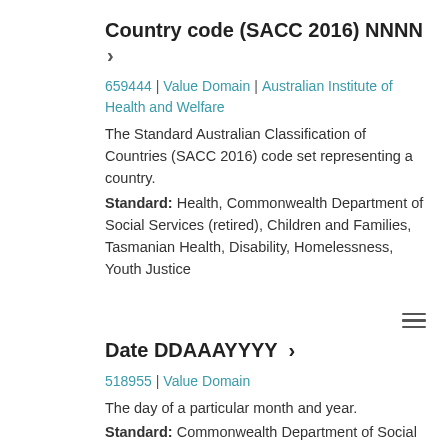Country code (SACC 2016) NNNN ›
659444 | Value Domain | Australian Institute of Health and Welfare
The Standard Australian Classification of Countries (SACC 2016) code set representing a country.
Standard: Health, Commonwealth Department of Social Services (retired), Children and Families, Tasmanian Health, Disability, Homelessness, Youth Justice
Date DDAAAYYYY ›
518955 | Value Domain
The day of a particular month and year.
Standard: Commonwealth Department of Social Services